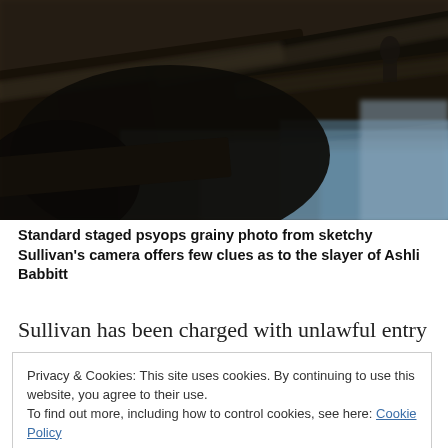[Figure (photo): Grainy, blurry photo from inside what appears to be a government building chamber with dark wooden seats/benches visible and some people in the background. Low quality, motion-blurred image.]
Standard staged psyops grainy photo from sketchy Sullivan's camera offers few clues as to the slayer of Ashli Babbitt
Sullivan has been charged with unlawful entry and
Privacy & Cookies: This site uses cookies. By continuing to use this website, you agree to their use.
To find out more, including how to control cookies, see here: Cookie Policy
Close and accept